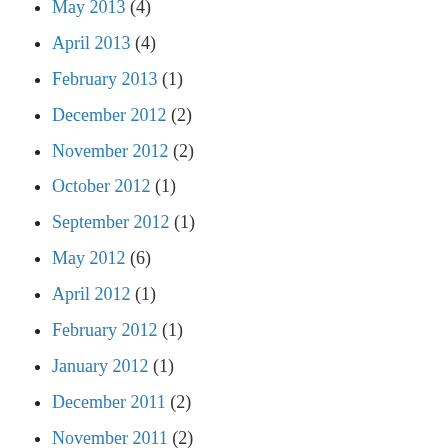May 2013 (4)
April 2013 (4)
February 2013 (1)
December 2012 (2)
November 2012 (2)
October 2012 (1)
September 2012 (1)
May 2012 (6)
April 2012 (1)
February 2012 (1)
January 2012 (1)
December 2011 (2)
November 2011 (2)
October 2011 (4)
September 2011 (3)
July 2011 (1)
June 2011 (2)